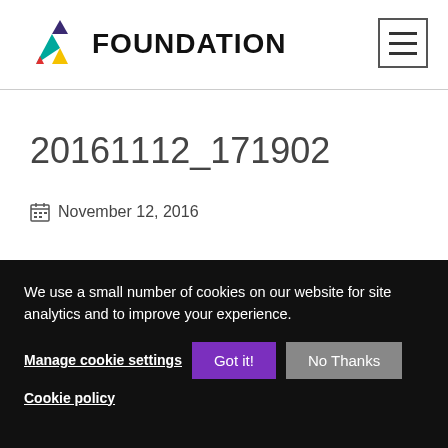FOUNDATION
20161112_171902
November 12, 2016
We use a small number of cookies on our website for site analytics and to improve your experience.
Manage cookie settings  Got it!  No Thanks
Cookie policy